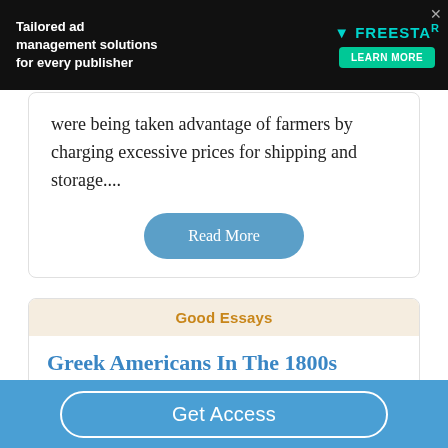[Figure (screenshot): Advertisement banner: dark background with text 'Tailored ad management solutions for every publisher', Freestar logo, Learn More button]
were being taken advantage of farmers by charging excessive prices for shipping and storage....
Read More
Good Essays
Greek Americans In The 1800s
318 Words
2 Pages
Get Access